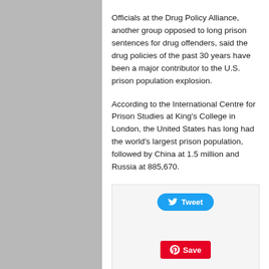Officials at the Drug Policy Alliance, another group opposed to long prison sentences for drug offenders, said the drug policies of the past 30 years have been a major contributor to the U.S. prison population explosion.
According to the International Centre for Prison Studies at King's College in London, the United States has long had the world's largest prison population, followed by China at 1.5 million and Russia at 885,670.
[Figure (infographic): Social sharing buttons: Tweet (Twitter/blue), Save (Pinterest/red), Share (LinkedIn/blue), and a TOPICS button (black)]